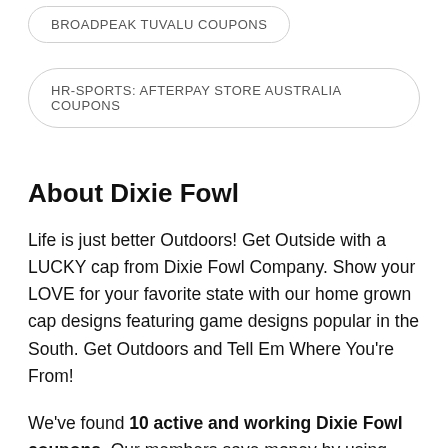BROADPEAK TUVALU COUPONS
HR-SPORTS: AFTERPAY STORE AUSTRALIA COUPONS
About Dixie Fowl
Life is just better Outdoors! Get Outside with a LUCKY cap from Dixie Fowl Company. Show your LOVE for your favorite state with our home grown cap designs featuring game designs popular in the South. Get Outdoors and Tell Em Where You're From!
We've found 10 active and working Dixie Fowl coupons. Our members save money by using these Dixie Fowl discounts at checkout.